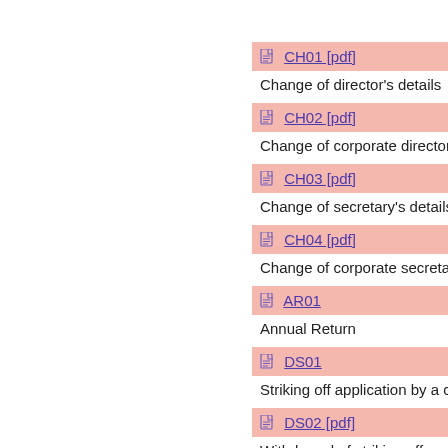CH01 [pdf] — Change of director's details
CH02 [pdf] — Change of corporate director's
CH03 [pdf] — Change of secretary's details
CH04 [pdf] — Change of corporate secretary
AR01 — Annual Return
DS01 — Striking off application by a com
DS02 [pdf] — Withdrawal of striking off applic